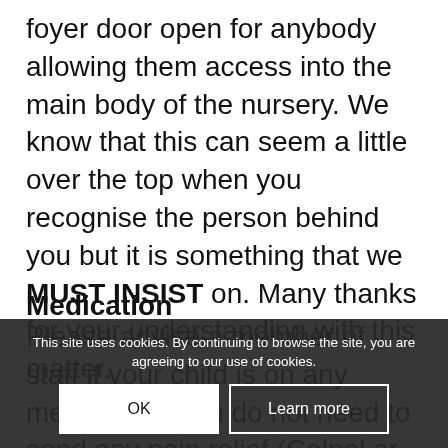foyer door open for anybody allowing them access into the main body of the nursery. We know that this can seem a little over the top when you recognise the person behind you but it is something that we MUST INSIST on. Many thanks for your understanding with this matter.
Medication
Please advise a member of staff if your child is on any medication. You do not need to send any pain relief (Calpol or equivalent) into nursery as we have our own supply which is kept away from children at all times.
This site uses cookies. By continuing to browse the site, you are agreeing to our use of cookies.